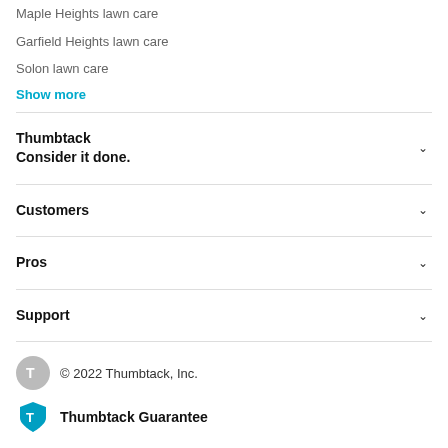Maple Heights lawn care
Garfield Heights lawn care
Solon lawn care
Show more
Thumbtack
Consider it done.
Customers
Pros
Support
© 2022 Thumbtack, Inc.
Thumbtack Guarantee